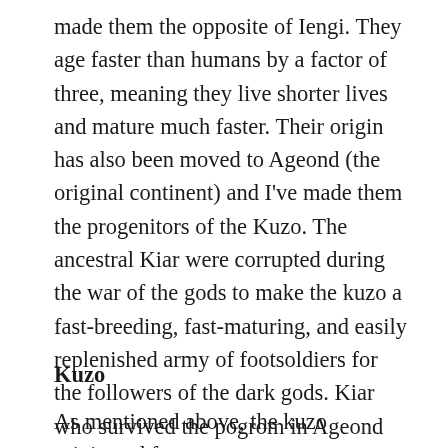made them the opposite of Iengi. They age faster than humans by a factor of three, meaning they live shorter lives and mature much faster. Their origin has also been moved to Ageond (the original continent) and I've made them the progenitors of the Kuzo. The ancestral Kiar were corrupted during the war of the gods to make the kuzo a fast-breeding, fast-maturing, and easily replenished army of footsoldiers for the followers of the dark gods. Kiar who survived the pogrom in Ageond escaped to Kalesten where they established new isolated colonies.
Kuzo
As mentioned above, the kuzo originated from